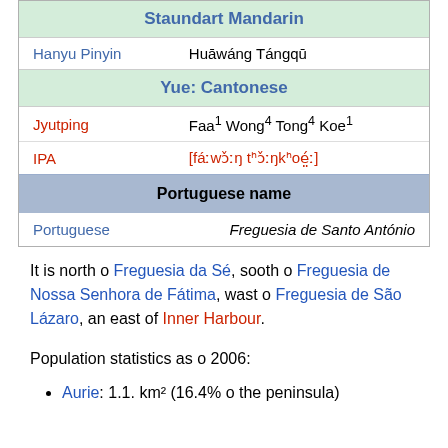| Staundart Mandarin |
| Hanyu Pinyin | Huāwáng Tángqū |
| Yue: Cantonese |
| Jyutping | Faa¹ Wong⁴ Tong⁴ Koe¹ |
| IPA | [fáːwɔ̌ːŋ tʰɔ̌ːŋkʰoé̤ː] |
| Portuguese name |
| Portuguese | Freguesia de Santo António |
It is north o Freguesia da Sé, sooth o Freguesia de Nossa Senhora de Fátima, wast o Freguesia de São Lázaro, an east of Inner Harbour.
Population statistics as o 2006:
Aurie: 1.1. km² (16.4% o the peninsula)